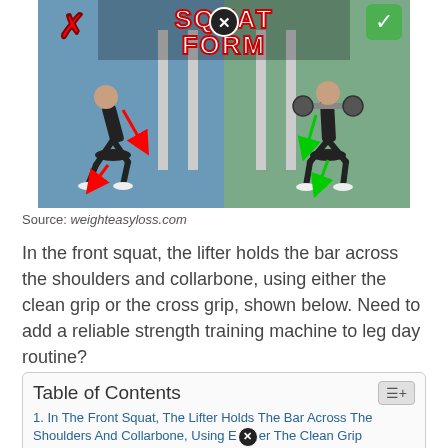[Figure (photo): Squat form comparison image showing incorrect form (red X, red arrows on left) vs correct form (green checkmark, green arrows on right) in a gym setting. Title reads 'SQUAT FORM' in bold red/white text.]
Source: weighteasyloss.com
In the front squat, the lifter holds the bar across the shoulders and collarbone, using either the clean grip or the cross grip, shown below. Need to add a reliable strength training machine to leg day routine?
Table of Contents
1. In The Front Squat, The Lifter Holds The Bar Across The Shoulders And Collarbone, Using Either The Clean Grip